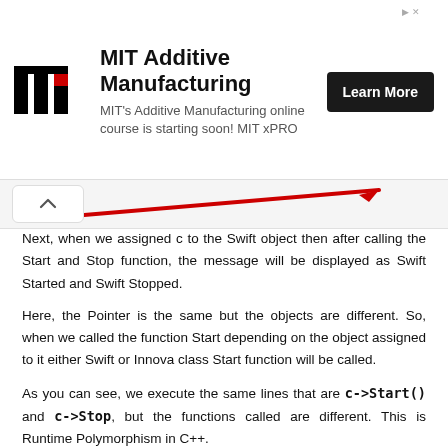[Figure (other): MIT Additive Manufacturing advertisement banner with MIT logo, text 'MIT Additive Manufacturing', 'MIT's Additive Manufacturing online course is starting soon! MIT xPRO', and a 'Learn More' button]
[Figure (other): Navigation bar with a chevron/up arrow button on the left and a red diagonal line extending to the right]
Next, when we assigned c to the Swift object then after calling the Start and Stop function, the message will be displayed as Swift Started and Swift Stopped.
Here, the Pointer is the same but the objects are different. So, when we called the function Start depending on the object assigned to it either Swift or Innova class Start function will be called.
As you can see, we execute the same lines that are c->Start() and c->Stop, but the functions called are different. This is Runtime Polymorphism in C++.
We are achieving polymorphism. The same statement but the function calls are different because first the object was Innova and next the object was Swift. It was a polymorphism because if...